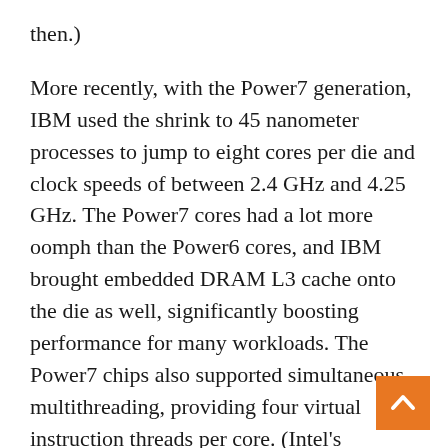then.)

More recently, with the Power7 generation, IBM used the shrink to 45 nanometer processes to jump to eight cores per die and clock speeds of between 2.4 GHz and 4.25 GHz. The Power7 cores had a lot more oomph than the Power6 cores, and IBM brought embedded DRAM L3 cache onto the die as well, significantly boosting performance for many workloads. The Power7 chips also supported simultaneous multithreading, providing four virtual instruction threads per core. (Intel's HyperThreading supports two threads per core and AMD does not support threads on its cores, or won't until the Zen core in 2016 if the rumors are right.) The Power7+ shrink to 32 nanometers allowed IBM to boost the L3 cache to 80 MB (up from 32 MB for the Power7) while tweaking the clock speeds up a little. A major the 2.1 billion transistors on the Power7+ die are for this